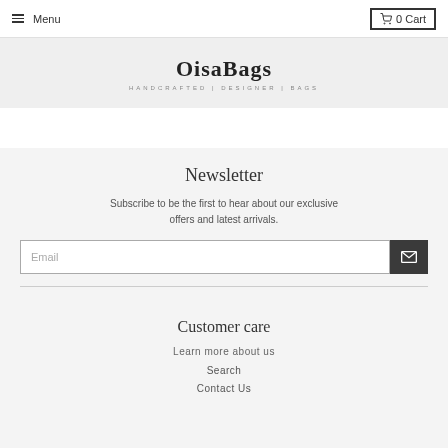≡ Menu   🛒 0 Cart
[Figure (logo): OisaBags logo with tagline HANDCRAFTED | DESIGNER | BAGS]
Newsletter
Subscribe to be the first to hear about our exclusive offers and latest arrivals.
Customer care
Learn more about us
Search
Contact Us